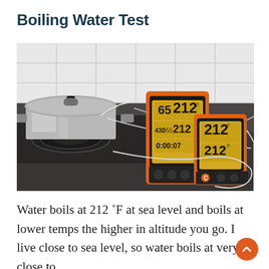Boiling Water Test
[Figure (photo): Two orange digital meat thermometers displaying 212°F on their LCD screens, placed on a dark kitchen counter next to a stainless steel pot with a glass lid on a gas stove, with sensor probes inserted into the pot. White tile backsplash visible in background.]
Water boils at 212 °F at sea level and boils at lower temps the higher in altitude you go. I live close to sea level, so water boils at very close to